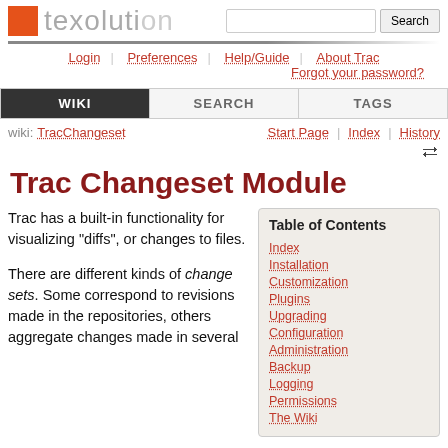texolution — Search
Login | Preferences | Help/Guide | About Trac | Forgot your password?
WIKI | SEARCH | TAGS
wiki: TracChangeset | Start Page | Index | History
Trac Changeset Module
Trac has a built-in functionality for visualizing "diffs", or changes to files.
There are different kinds of change sets. Some correspond to revisions made in the repositories, others aggregate changes made in several
Index
Installation
Customization
Plugins
Upgrading
Configuration
Administration
Backup
Logging
Permissions
The Wiki